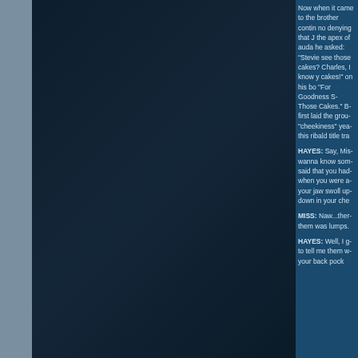Now when it came to the brother contin... no denying that J... the apex of auda... he asked: "Stevie... see those cakes?... Charles, I know y... cakes!" on his bo... "For Goodness S... Those Cakes." B... first laid the grou... "cheekiness" yea... this ribald title tra...
HAYES: Say, Mis... wanna know som... said that you had... when you were a... your jaw swoll up... down in your che...
MISS: Naw...ther... them was lumps.
HAYES: Well, I g... to tell me them w... your back pock...